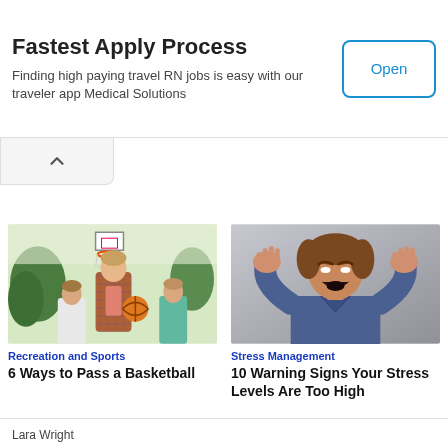Fastest Apply Process
Finding high paying travel RN jobs is easy with our traveler app Medical Solutions
[Figure (screenshot): Open button — blue-bordered rounded rectangle button with text 'Open']
[Figure (photo): Basketball court scene with a young man in plaid shirt smiling, holding a basketball, with teammates behind him]
Recreation and Sports
6 Ways to Pass a Basketball
[Figure (photo): Woman with hands on head, mouth open in a scream, expressing extreme stress, gray background]
Stress Management
10 Warning Signs Your Stress Levels Are Too High
Lara Wright